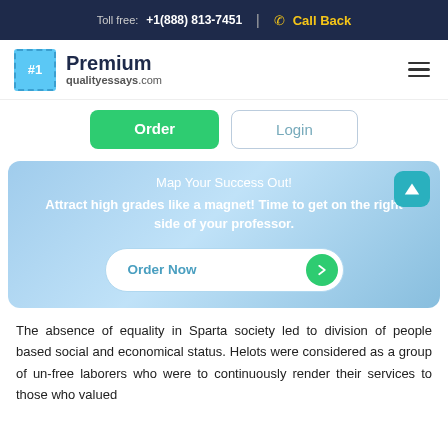Toll free: +1(888) 813-7451 | Call Back
[Figure (logo): Premium qualityessays.com logo with #1 stamp icon and hamburger menu]
Order | Login
Map Your Success Out!
Attract high grades like a magnet! Time to get on the right side of your professor.
Order Now
The absence of equality in Sparta society led to division of people based social and economical status. Helots were considered as a group of un-free laborers who were to continuously render their services to those who valued